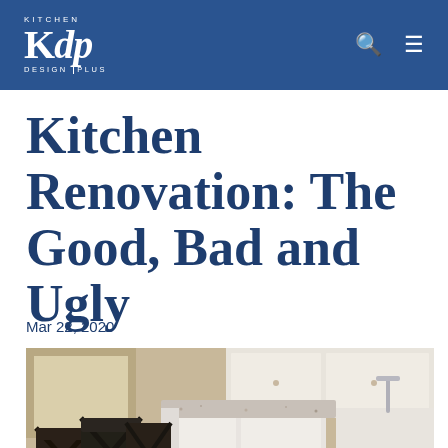Kitchen Design Plus
Kitchen Renovation: The Good, Bad and Ugly
Mar 22, 2020
[Figure (photo): Kitchen interior showing dark wooden bar stools at a white kitchen island with granite countertop, white cabinets, and a sink in the background]